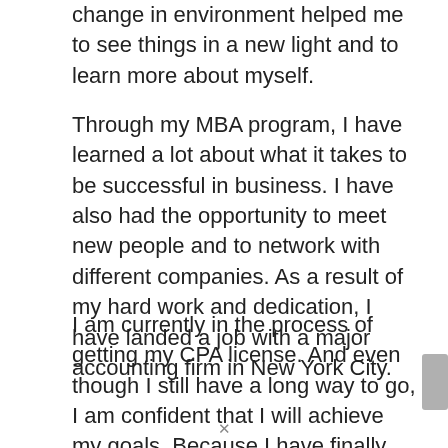change in environment helped me to see things in a new light and to learn more about myself.
Through my MBA program, I have learned a lot about what it takes to be successful in business. I have also had the opportunity to meet new people and to network with different companies. As a result of my hard work and dedication, I have landed a job with a major accounting firm in New York City.
I am currently in the process of getting my CPA license. And even though I still have a long way to go, I am confident that I will achieve my goals. Because I have finally found the place where I belong and I am ready to make the change in my